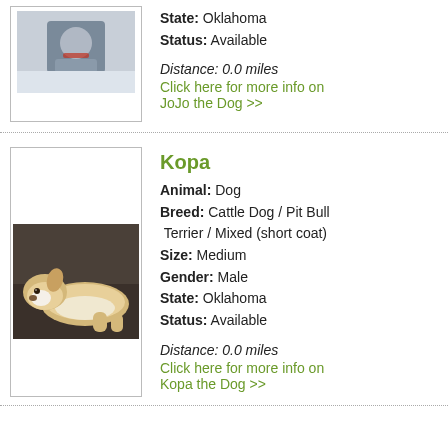[Figure (photo): Photo of JoJo the dog, a small dog with a red collar, outdoors in snow]
State: Oklahoma
Status: Available

Distance: 0.0 miles
Click here for more info on JoJo the Dog >>
[Figure (photo): Photo of Kopa the dog, a tan and white mixed breed dog lying on a dark couch]
Kopa
Animal: Dog
Breed: Cattle Dog / Pit Bull Terrier / Mixed (short coat)
Size: Medium
Gender: Male
State: Oklahoma
Status: Available

Distance: 0.0 miles
Click here for more info on Kopa the Dog >>